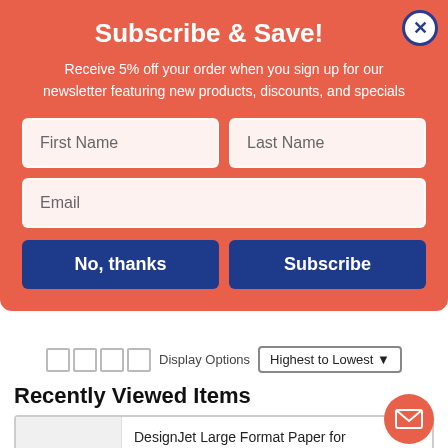Subscribe & Save!
Receive 5% off your order when you sign up for our newsletter featuring new products, discounts, and specials
First Name | Last Name | Email (form fields)
No, thanks | Subscribe (buttons)
Display Options  Highest to Lowest
Recently Viewed Items
DesignJet Large Format Paper for Inkjet Prints, 7 mil, 24" x 100 ft, Satin